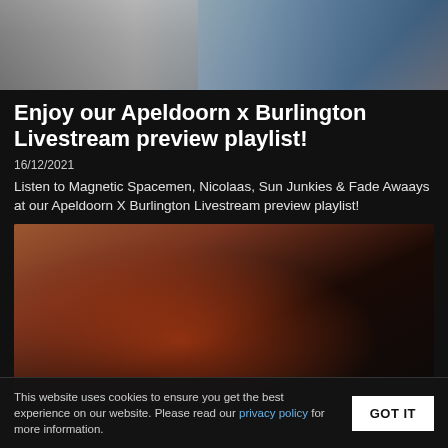[Figure (photo): Top portion of a photo showing two people, partially cropped]
Enjoy our Apeldoorn x Burlington Livestream preview playlist!
16/12/2021
Listen to Magnetic Spacemen, Nicolaas, Sun Junkies & Fade Awaays at our Apeldoorn X Burlington Livestream preview playlist!
[Figure (photo): Close-up portrait of a person with braided hair, lit with red/warm light against a brown background]
This website uses cookies to ensure you get the best experience on our website. Please read our privacy policy for more information.